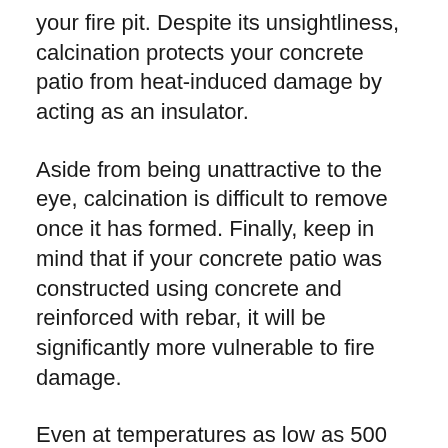your fire pit. Despite its unsightliness, calcination protects your concrete patio from heat-induced damage by acting as an insulator.
Aside from being unattractive to the eye, calcination is difficult to remove once it has formed. Finally, keep in mind that if your concrete patio was constructed using concrete and reinforced with rebar, it will be significantly more vulnerable to fire damage.
Even at temperatures as low as 500 degrees Fahrenheit, rebar may become brittle. There’s nothing hot about it, but it’s not a fire extinguisher. In order for cracking to occur, rebar must first get hardened